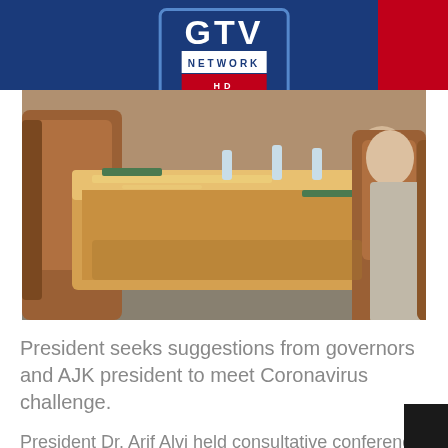GTV Network HD
[Figure (photo): A conference room scene with a marble/wooden desk, leather chairs, and a person seated to the right.]
President seeks suggestions from governors and AJK president to meet Coronavirus challenge.
President Dr. Arif Alvi held consultative conference with all provincial Governors and President of Azad Jammu and Kashmir today.
He sought their cooperation and suggestions to meet the challenge of Covid-19 Pandemic.
All Governors presented their respective views.